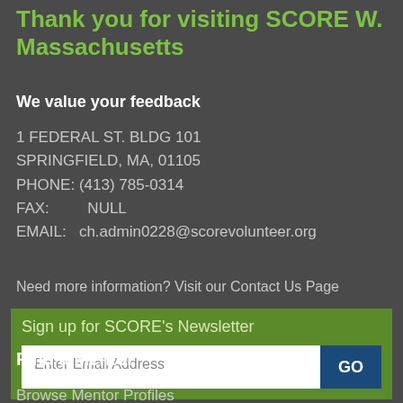Thank you for visiting SCORE W. Massachusetts
We value your feedback
1 FEDERAL ST. BLDG 101
SPRINGFIELD, MA, 01105
PHONE: (413) 785-0314
FAX:        NULL
EMAIL:   ch.admin0228@scorevolunteer.org
Need more information? Visit our Contact Us Page
Sign up for SCORE's Newsletter
Enter Email Address
Find a Mentor
Browse Mentor Profiles